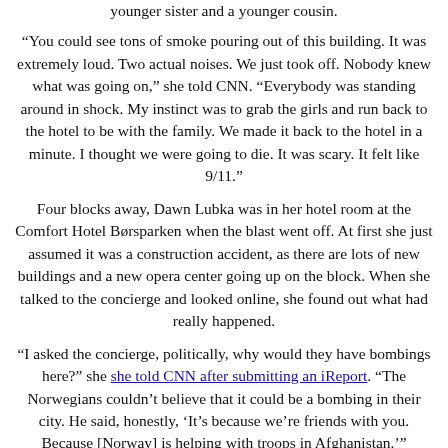younger sister and a younger cousin.
“You could see tons of smoke pouring out of this building. It was extremely loud. Two actual noises. We just took off. Nobody knew what was going on,” she told CNN. “Everybody was standing around in shock. My instinct was to grab the girls and run back to the hotel to be with the family. We made it back to the hotel in a minute. I thought we were going to die. It was scary. It felt like 9/11.”
Four blocks away, Dawn Lubka was in her hotel room at the Comfort Hotel Børsparken when the blast went off. At first she just assumed it was a construction accident, as there are lots of new buildings and a new opera center going up on the block. When she talked to the concierge and looked online, she found out what had really happened.
“I asked the concierge, politically, why would they have bombings here?” she she told CNN after submitting an iReport. “The Norwegians couldn’t believe that it could be a bombing in their city. He said, honestly, ‘It’s because we’re friends with you. Because [Norway] is helping with troops in Afghanistan.’”
[Update: 2:39 p.m. ET, 8:39 p.m. Oslo] U.S. President Barack Obama extended his condolences to the victims of the violence in Norway on Friday, saying the incidents are “a reminder that the